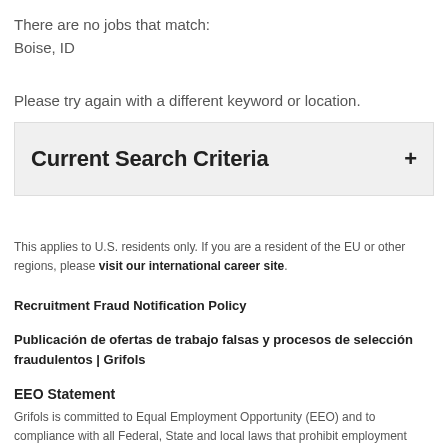There are no jobs that match:
Boise, ID
Please try again with a different keyword or location.
Current Search Criteria +
This applies to U.S. residents only. If you are a resident of the EU or other regions, please visit our international career site.
Recruitment Fraud Notification Policy
Publicación de ofertas de trabajo falsas y procesos de selección fraudulentos | Grifols
EEO Statement
Grifols is committed to Equal Employment Opportunity (EEO) and to compliance with all Federal, State and local laws that prohibit employment discrimination on the basis of race, color, age, national